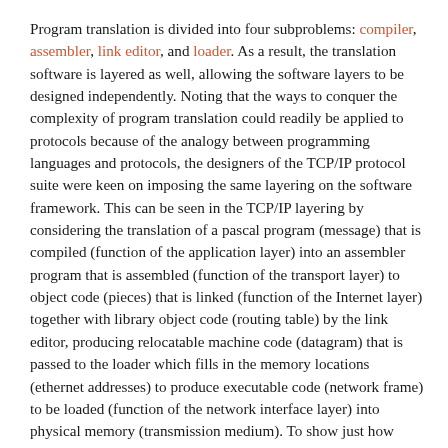Program translation is divided into four subproblems: compiler, assembler, link editor, and loader. As a result, the translation software is layered as well, allowing the software layers to be designed independently. Noting that the ways to conquer the complexity of program translation could readily be applied to protocols because of the analogy between programming languages and protocols, the designers of the TCP/IP protocol suite were keen on imposing the same layering on the software framework. This can be seen in the TCP/IP layering by considering the translation of a pascal program (message) that is compiled (function of the application layer) into an assembler program that is assembled (function of the transport layer) to object code (pieces) that is linked (function of the Internet layer) together with library object code (routing table) by the link editor, producing relocatable machine code (datagram) that is passed to the loader which fills in the memory locations (ethernet addresses) to produce executable code (network frame) to be loaded (function of the network interface layer) into physical memory (transmission medium). To show just how closely the analogy fits, the terms between parentheses in the previous sentence denote the relevant analogs and the terms written cursively denote data representations. Program translation forms a linear sequence because each layer's